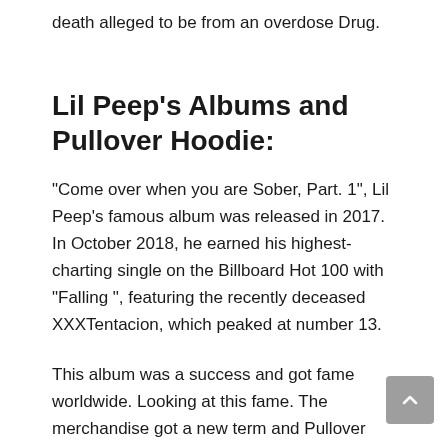death alleged to be from an overdose Drug.
Lil Peep’s Albums and Pullover Hoodie:
“Come over when you are Sober, Part. 1”, Lil Peep’s famous album was released in 2017. In October 2018, he earned his highest-charting single on the Billboard Hot 100 with “Falling ”, featuring the recently deceased XXXTentacion, which peaked at number 13.
This album was a success and got fame worldwide. Looking at this fame. The merchandise got a new term and Pullover hoodie related to Lil peep’s